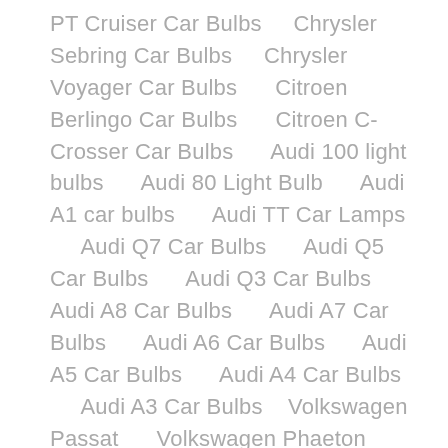PT Cruiser Car Bulbs    Chrysler Sebring Car Bulbs    Chrysler Voyager Car Bulbs      Citroen Berlingo Car Bulbs      Citroen C-Crosser Car Bulbs      Audi 100 light bulbs      Audi 80 Light Bulb      Audi A1 car bulbs      Audi TT Car Lamps      Audi Q7 Car Bulbs      Audi Q5 Car Bulbs      Audi Q3 Car Bulbs      Audi A8 Car Bulbs      Audi A7 Car Bulbs      Audi A6 Car Bulbs      Audi A5 Car Bulbs      Audi A4 Car Bulbs      Audi A3 Car Bulbs    Volkswagen Passat      Volkswagen Phaeton    Volkswagen Polo      Volkswagen Scirocco      Volkswagen Sharan      Volkswagen T-Roc      Volkswagen Teramont      Volkswagen Tiguan      Volkswagen Touareg      Volkswagen Touran      Volkswagen Transporter      Volkswagen Vento      Volvo 850      Volvo C30      Volvo S40      Volvo S60      Volvo S80      Volvo S90      Volvo V40      Volvo XC60      Volvo XC70